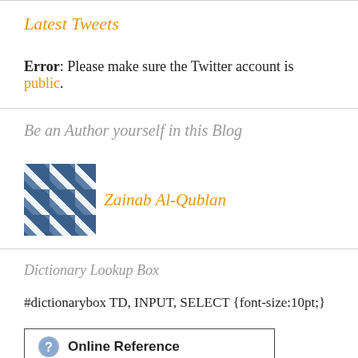Latest Tweets
Error: Please make sure the Twitter account is public.
Be an Author yourself in this Blog
[Figure (illustration): Avatar thumbnail for Zainab Al-Qublan with name displayed in orange italic]
Dictionary Lookup Box
#dictionarybox TD, INPUT, SELECT {font-size:10pt;}
[Figure (screenshot): Dictionary widget box with Online Reference label and help icon]